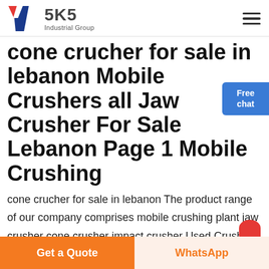[Figure (logo): SKS Industrial Group logo with red and blue K lettermark and SKS text]
cone crucher for sale in lebanon Mobile Crushers all Jaw Crusher For Sale Lebanon Page 1 Mobile Crushing
cone crucher for sale in lebanon The product range of our company comprises mobile crushing plant jaw crusher cone crusher impact crusher Used Crushing Plant for sale Mobile Crushing and Screening Plant Closed Circuit Type
Get a Quote  WhatsApp